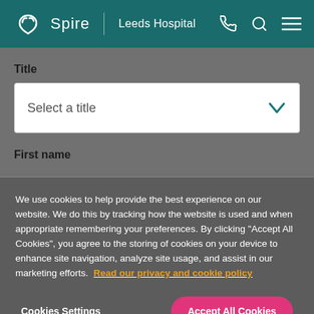Spire | Leeds Hospital
Title
Select a title
First name
We use cookies to help provide the best experience on our website. We do this by tracking how the website is used and when appropriate remembering your preferences. By clicking "Accept All Cookies", you agree to the storing of cookies on your device to enhance site navigation, analyze site usage, and assist in our marketing efforts. Read our privacy and cookie policy
Cookies Settings
Accept All Cookies